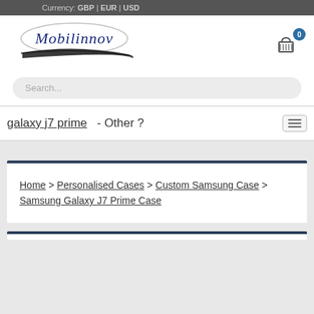Currency: GBP | EUR | USD
[Figure (logo): Mobilinnov cursive logo with ellipse swoosh]
0 (cart)
Search...
galaxy j7 prime  - Other ?
Home > Personalised Cases > Custom Samsung Case > Samsung Galaxy J7 Prime Case